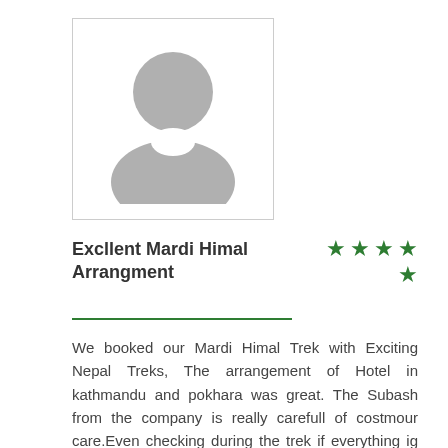[Figure (illustration): Generic user avatar silhouette icon inside a light border box, showing a gray circular head and shoulders shape on white background]
Excllent Mardi Himal Arrangment
★★★★ (4 stars)
We booked our Mardi Himal Trek with Exciting Nepal Treks, The arrangement of Hotel in kathmandu and pokhara was great. The Subash from the company is really carefull of costmour care.Even checking during the trek if everything ig going well. Our Guide Suman was so helpful and careful with service, somtime he also go to kitchen and cook the food for us. He was very well known with mountain lodges. The view from High camp was stunning, the